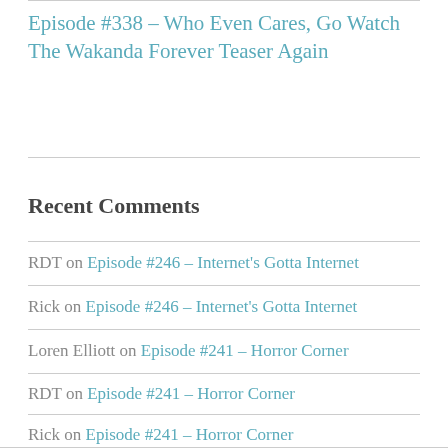Episode #338 – Who Even Cares, Go Watch The Wakanda Forever Teaser Again
Recent Comments
RDT on Episode #246 – Internet's Gotta Internet
Rick on Episode #246 – Internet's Gotta Internet
Loren Elliott on Episode #241 – Horror Corner
RDT on Episode #241 – Horror Corner
Rick on Episode #241 – Horror Corner